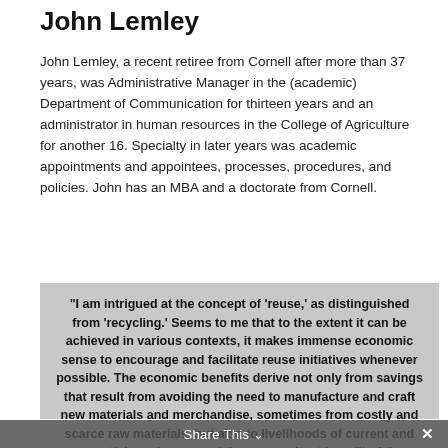John Lemley
John Lemley, a recent retiree from Cornell after more than 37 years, was Administrative Manager in the (academic) Department of Communication for thirteen years and an administrator in human resources in the College of Agriculture for another 16. Specialty in later years was academic appointments and appointees, processes, procedures, and policies. John has an MBA and a doctorate from Cornell.
“I am intrigued at the concept of ‘reuse,’ as distinguished from ‘recycling.’ Seems to me that to the extent it can be achieved in various contexts, it makes immense economic sense to encourage and facilitate reuse initiatives whenever possible. The economic benefits derive not only from savings that result from avoiding the need to manufacture and craft new materials and merchandise, sometimes from costly and scarce raw materials, but also to livelihoods of current and potential employees and the concomitant benefit of the surrounding community.”
Share This